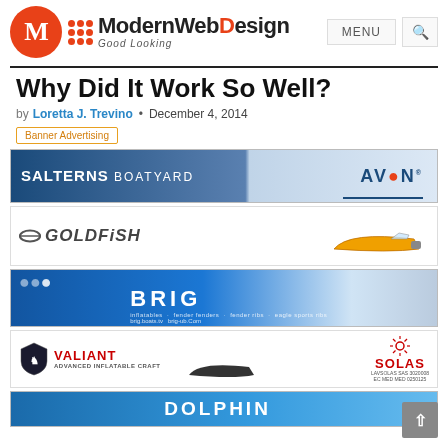ModernWebDesign Good Looking — MENU [search]
Why Did It Work So Well?
by Loretta J. Trevino • December 4, 2014
Banner Advertising
[Figure (infographic): SALTERNS BOATYARD and AVON logo banner advertisement]
[Figure (infographic): GOLDFISH branded boat advertisement with speedboat image]
[Figure (infographic): BRIG inflatable boats banner advertisement with blue background]
[Figure (infographic): VALIANT Advanced Inflatable Craft and SOLAS banner advertisement]
[Figure (infographic): DOLPHIN banner advertisement with blue background]